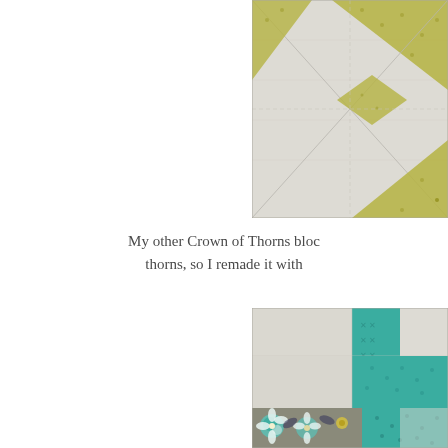[Figure (photo): Close-up of a Crown of Thorns quilt block showing olive/yellow-green printed fabric triangles on a cream/light gray background, partially cropped at the top and right edges.]
My other Crown of Thorns bloc thorns, so I remade it with
[Figure (photo): Partially visible quilt block showing a checkerboard-style pattern with teal/aqua printed fabric squares alternating with cream/off-white squares, and a floral print strip along the bottom with teal, navy, and yellow flowers on gray background.]